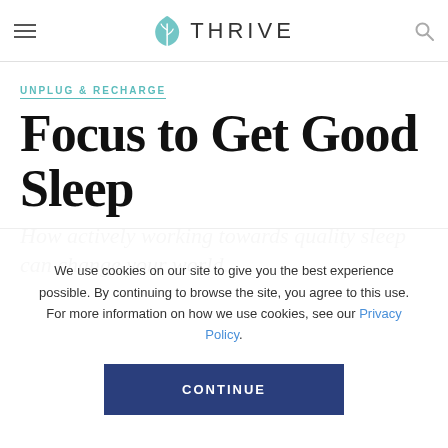THRIVE (navigation header with menu and search icons)
UNPLUG & RECHARGE
Focus to Get Good Sleep
How actively working towards quality sleep can change your world.
We use cookies on our site to give you the best experience possible. By continuing to browse the site, you agree to this use. For more information on how we use cookies, see our Privacy Policy.
CONTINUE